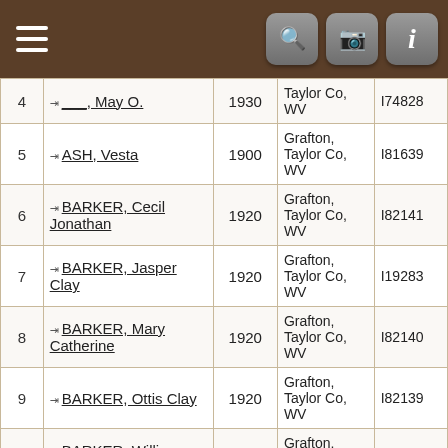[Figure (screenshot): Mobile app toolbar with hamburger menu on left, and search, camera, info icon buttons on right, brown background]
| # | Name | Year | Place | ID |
| --- | --- | --- | --- | --- |
| 4 | ___, May O. | 1930 | Taylor Co, WV | I74828 |
| 5 | ASH, Vesta | 1900 | Grafton, Taylor Co, WV | I81639 |
| 6 | BARKER, Cecil Jonathan | 1920 | Grafton, Taylor Co, WV | I82141 |
| 7 | BARKER, Jasper Clay | 1920 | Grafton, Taylor Co, WV | I19283 |
| 8 | BARKER, Mary Catherine | 1920 | Grafton, Taylor Co, WV | I82140 |
| 9 | BARKER, Ottis Clay | 1920 | Grafton, Taylor Co, WV | I82139 |
| 10 | BARKER, William Marvin | 1920 | Grafton, Taylor Co, WV | I18230 |
| 11 | BARTLETT, Ansley Brooks | 1920 | Grafton, Taylor Co, WV | I130206 |
|  |  |  | Grafton, |  |